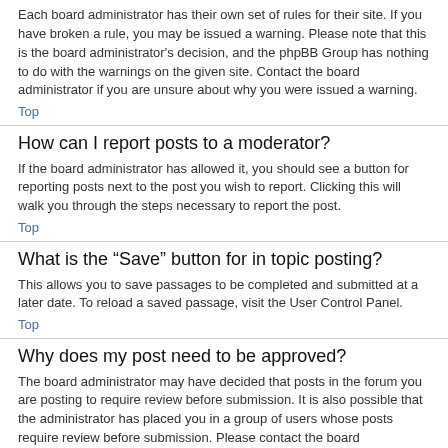Each board administrator has their own set of rules for their site. If you have broken a rule, you may be issued a warning. Please note that this is the board administrator's decision, and the phpBB Group has nothing to do with the warnings on the given site. Contact the board administrator if you are unsure about why you were issued a warning.
Top
How can I report posts to a moderator?
If the board administrator has allowed it, you should see a button for reporting posts next to the post you wish to report. Clicking this will walk you through the steps necessary to report the post.
Top
What is the “Save” button for in topic posting?
This allows you to save passages to be completed and submitted at a later date. To reload a saved passage, visit the User Control Panel.
Top
Why does my post need to be approved?
The board administrator may have decided that posts in the forum you are posting to require review before submission. It is also possible that the administrator has placed you in a group of users whose posts require review before submission. Please contact the board administrator for further details.
Top
How do I bump my topic?
By clicking the “Bump topic” link when you are viewing it, you can “bump” the topic to the top of the forum on the first page. However, if you do not see this